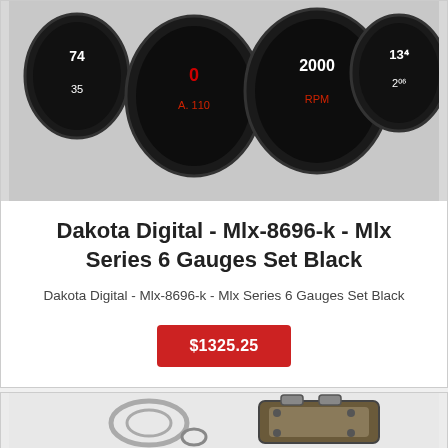[Figure (photo): Product photo showing Dakota Digital MLX-8696-k gauge cluster set with 6 round black gauges displaying various readings including speed, RPM, fuel, and other vehicle metrics]
Dakota Digital - Mlx-8696-k - Mlx Series 6 Gauges Set Black
Dakota Digital - Mlx-8696-k - Mlx Series 6 Gauges Set Black
$1325.25
[Figure (photo): Product photo showing automotive parts including metal rings, gaskets and a carburetor or similar mechanical component]